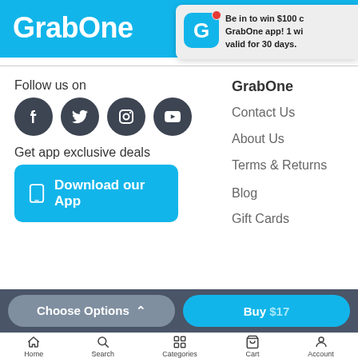GrabOne
Be in to win $100 c… GrabOne app! 1 wi… valid for 30 days.
Follow us on
[Figure (logo): Social media icons: Facebook, Twitter, Instagram, YouTube]
Get app exclusive deals
Download our App
GrabOne
Contact Us
About Us
Terms & Returns
Blog
Gift Cards
Choose Options ^   Buy $17   Home  Search  Categories  Cart  Account